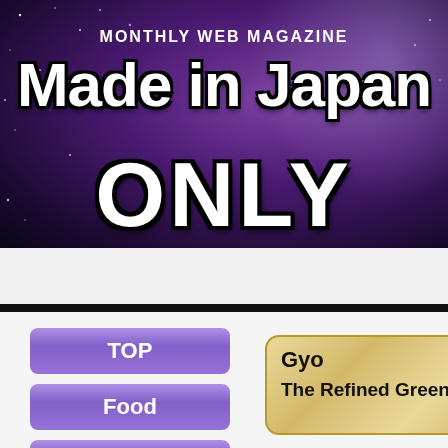[Figure (illustration): Monthly Web Magazine 'Made in Japan ONLY' banner header with purple/dark cosmic background, stars, and white bold text]
MONTHLY WEB MAGAZINE
Made in Japan
ONLY
TOP
Food
Gyo
The Refined Green